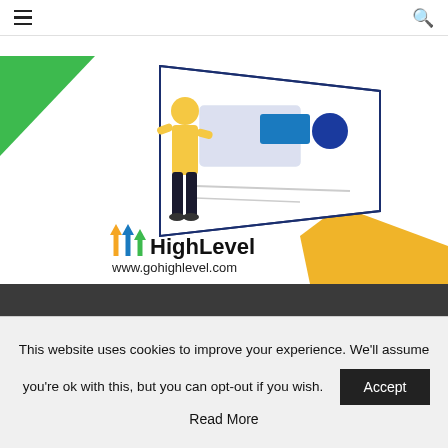≡  🔍
[Figure (illustration): HighLevel illustration showing a person in yellow jacket standing next to a large isometric screen/tablet with UI elements. Green triangle top-left and yellow pentagon shape bottom-right. HighLevel logo with orange and green/blue upward arrows, text 'HighLevel' and 'www.gohighlevel.com' below.]
This website uses cookies to improve your experience. We'll assume you're ok with this, but you can opt-out if you wish.
Accept
Read More